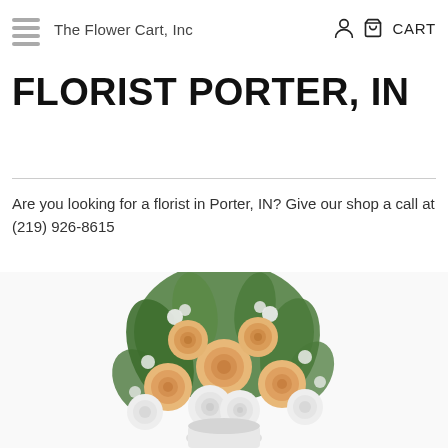The Flower Cart, Inc   CART
FLORIST PORTER, IN
Are you looking for a florist in Porter, IN? Give our shop a call at (219) 926-8615
[Figure (photo): Bouquet of white and golden/peach roses with greenery arranged in a white vase]